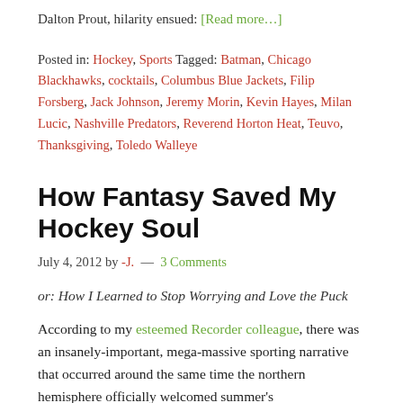Dalton Prout, hilarity ensued: [Read more...]
Posted in: Hockey, Sports Tagged: Batman, Chicago Blackhawks, cocktails, Columbus Blue Jackets, Filip Forsberg, Jack Johnson, Jeremy Morin, Kevin Hayes, Milan Lucic, Nashville Predators, Reverend Horton Heat, Teuvo, Thanksgiving, Toledo Walleye
How Fantasy Saved My Hockey Soul
July 4, 2012 by -J. — 3 Comments
or: How I Learned to Stop Worrying and Love the Puck
According to my esteemed Recorder colleague, there was an insanely-important, mega-massive sporting narrative that occurred around the same time the northern hemisphere officially welcomed summer's